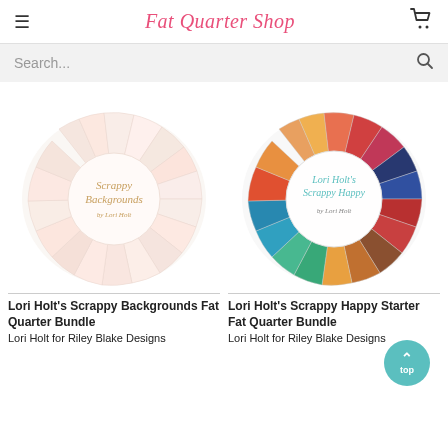Fat Quarter Shop
Search...
[Figure (photo): Lori Holt's Scrappy Backgrounds Fat Quarter Bundle — fan arrangement of light patterned fabric squares in a circle with script text in the center]
Lori Holt's Scrappy Backgrounds Fat Quarter Bundle
Lori Holt for Riley Blake Designs
[Figure (photo): Lori Holt's Scrappy Happy Starter Fat Quarter Bundle — colorful fan arrangement of fabric squares in a circle with script text in the center]
Lori Holt's Scrappy Happy Starter Fat Quarter Bundle
Lori Holt for Riley Blake Designs